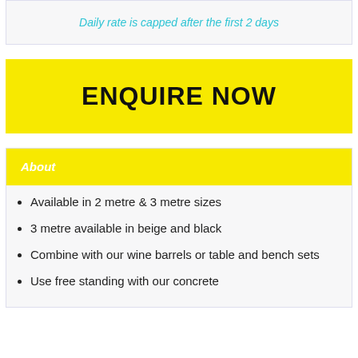Daily rate is capped after the first 2 days
ENQUIRE NOW
About
Available in 2 metre & 3 metre sizes
3 metre available in beige and black
Combine with our wine barrels or table and bench sets
Use free standing with our concrete